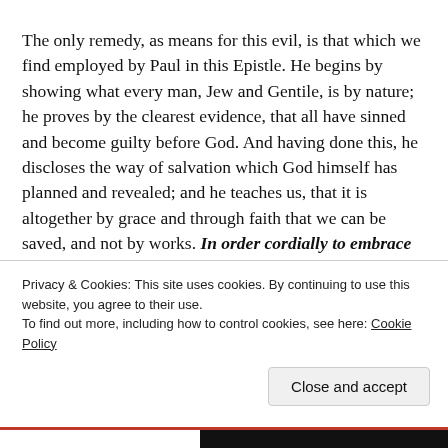The only remedy, as means for this evil, is that which we find employed by Paul in this Epistle. He begins by showing what every man, Jew and Gentile, is by nature; he proves by the clearest evidence, that all have sinned and become guilty before God. And having done this, he discloses the way of salvation which God himself has planned and revealed; and he teaches us, that it is altogether by grace and through faith that we can be saved, and not by works. In order cordially to embrace this latter truth, it is necessary to know the first, that we are sinners under condemnation. It is impossible, according
Privacy & Cookies: This site uses cookies. By continuing to use this website, you agree to their use.
To find out more, including how to control cookies, see here: Cookie Policy
Close and accept